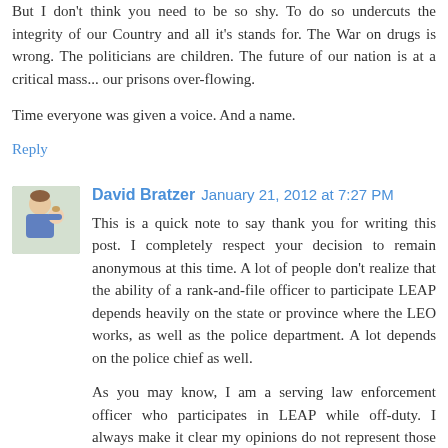But I don't think you need to be so shy. To do so undercuts the integrity of our Country and all it's stands for. The War on drugs is wrong. The politicians are children. The future of our nation is at a critical mass... our prisons over-flowing.
Time everyone was given a voice. And a name.
Reply
David Bratzer  January 21, 2012 at 7:27 PM
This is a quick note to say thank you for writing this post. I completely respect your decision to remain anonymous at this time. A lot of people don't realize that the ability of a rank-and-file officer to participate LEAP depends heavily on the state or province where the LEO works, as well as the police department. A lot depends on the police chief as well.
As you may know, I am a serving law enforcement officer who participates in LEAP while off-duty. I always make it clear my opinions do not represent those of my department. And even though I've taken these precautions, there have